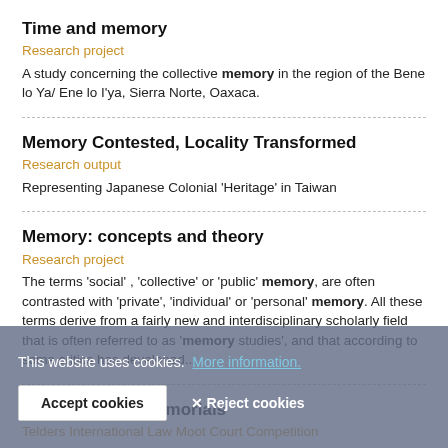Time and memory
Research project
A study concerning the collective memory in the region of the Bene lo Ya/ Ene lo I'ya, Sierra Norte, Oaxaca.
Memory Contested, Locality Transformed
Research output
Representing Japanese Colonial 'Heritage' in Taiwan
Memory: concepts and theory
Research project
The terms 'social' , 'collective' or 'public' memory, are often contrasted with 'private', 'individual' or 'personal' memory. All these terms derive from a fairly new and interdisciplinary scholarly field that is often referred to as 'memory studies', and that according to some critics has developed...
Pleadings and Memorials
Telders International Law Moot Court Competition
The main objective of the Telders Competition is to challenge students on a real international law consequence using their creativity and...